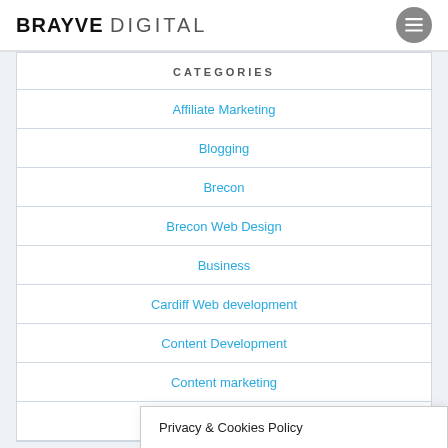BRAYVE DIGITAL
CATEGORIES
Affiliate Marketing
Blogging
Brecon
Brecon Web Design
Business
Cardiff Web development
Content Development
Content marketing
D...
Privacy & Cookies Policy